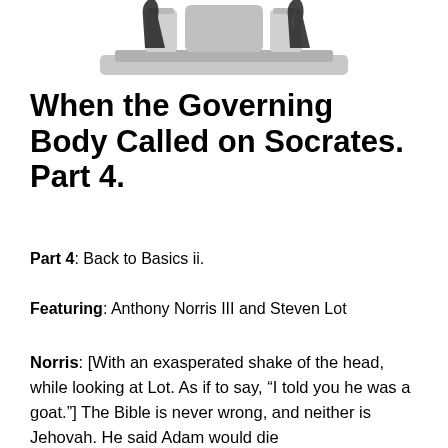[Figure (illustration): Partial illustration showing the bottom portion of a figure/image, appears to be a stylized person or statue in grayscale/silver tones]
When the Governing Body Called on Socrates. Part 4.
Part 4: Back to Basics ii.
Featuring: Anthony Norris III and Steven Lot
Norris: [With an exasperated shake of the head, while looking at Lot. As if to say, “I told you he was a goat.”] The Bible is never wrong, and neither is Jehovah. He said Adam would die